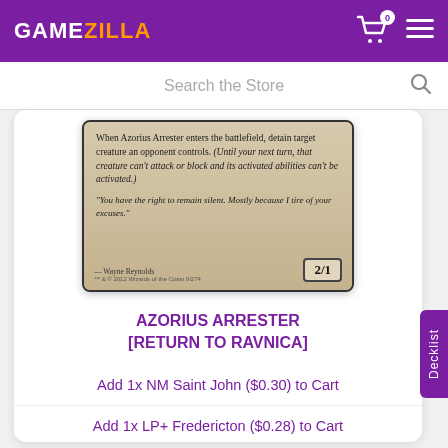GAMEZILLA
Search the Store
[Figure (photo): Partial view of the Azorius Arrester Magic: The Gathering card showing card text: 'When Azorius Arrester enters the battlefield, detain target creature an opponent controls. (Until your next turn, that creature can't attack or block and its activated abilities can't be activated.)' Flavor text: 'You have the right to remain silent. Mostly because I tire of your excuses.' Art by Wayne Reynolds. Power/Toughness: 2/1.]
AZORIUS ARRESTER [RETURN TO RAVNICA]
Add 1x NM Saint John ($0.30) to Cart
Add 1x LP+ Fredericton ($0.28) to Cart
Add 1x LP+ Bathurst ($0.28) to Cart